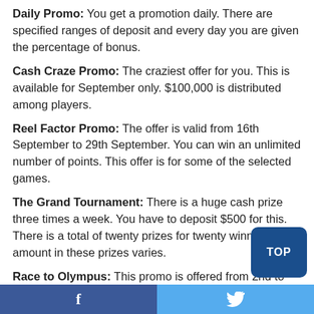Daily Promo: You get a promotion daily. There are specified ranges of deposit and every day you are given the percentage of bonus.
Cash Craze Promo: The craziest offer for you. This is available for September only. $100,000 is distributed among players.
Reel Factor Promo: The offer is valid from 16th September to 29th September. You can win an unlimited number of points. This offer is for some of the selected games.
The Grand Tournament: There is a huge cash prize three times a week. You have to deposit $500 for this. There is a total of twenty prizes for twenty winners. The amount in these prizes varies.
Race to Olympus: This promo is offered from 2nd to 15th of September. For Spinfinity, Gold Canyon, and Tiger's Cas games, if you win you get complimentary points. No bonus or code is required to be eligible.
Facebook | Twitter